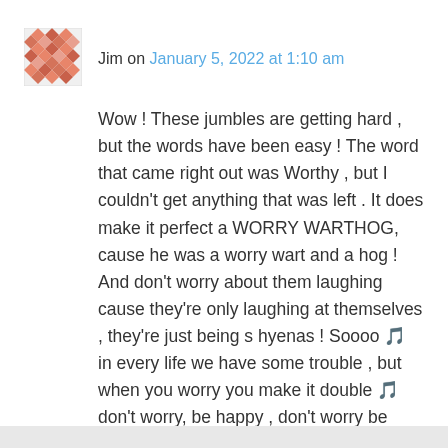Jim on January 5, 2022 at 1:10 am
Wow ! These jumbles are getting hard , but the words have been easy ! The word that came right out was Worthy , but I couldn't get anything that was left . It does make it perfect a WORRY WARTHOG, cause he was a worry wart and a hog ! And don't worry about them laughing cause they're only laughing at themselves , they're just being s hyenas ! Soooo 🎵 in every life we have some trouble , but when you worry you make it double 🎵 don't worry, be happy , don't worry be happy now ! 🎵 ( Bobby mcferin 1988) have a good day !